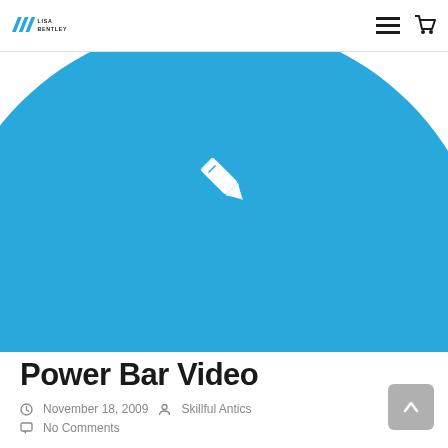Lisa Bentley — navigation header with logo, menu and cart icons
[Figure (illustration): Large blue circle with white pencil/edit icon in the center, cropped at bottom of image area]
Power Bar Video
November 18, 2009  Skillful Antics
No Comments